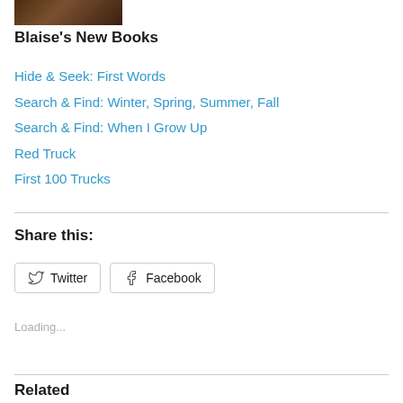[Figure (photo): Partial view of a book on grass/ground surface (cropped at top)]
Blaise's New Books
Hide & Seek: First Words
Search & Find: Winter, Spring, Summer, Fall
Search & Find: When I Grow Up
Red Truck
First 100 Trucks
Share this:
Loading...
Related